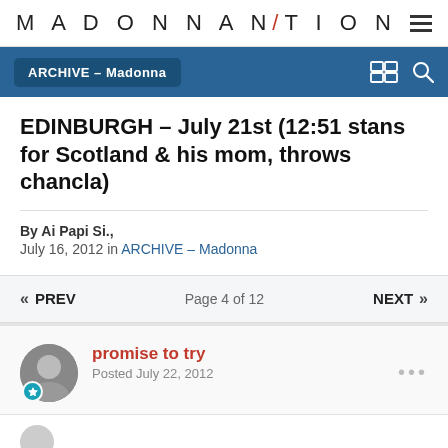MADONNA NATION
ARCHIVE - Madonna
EDINBURGH - July 21st (12:51 stans for Scotland & his mom, throws chancla)
By Ai Papi Si.,
July 16, 2012 in ARCHIVE - Madonna
« PREV   Page 4 of 12   NEXT »
promise to try
Posted July 22, 2012